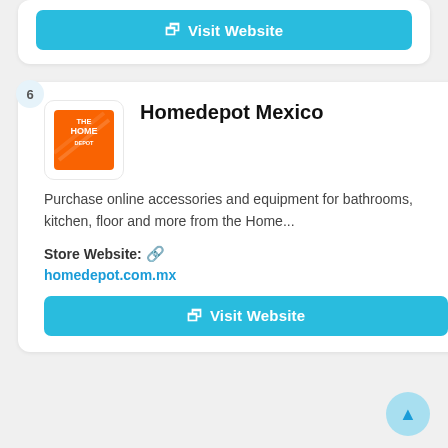[Figure (other): Visit Website button (top partial card)]
Homedepot Mexico
Purchase online accessories and equipment for bathrooms, kitchen, floor and more from the Home...
Store Website: homedepot.com.mx
[Figure (other): Visit Website button for Homedepot Mexico]
Bestbuy Mexico